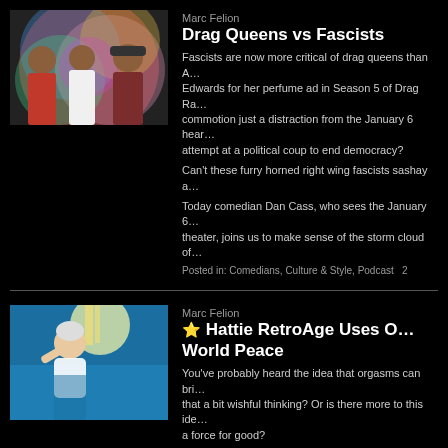[Figure (photo): Three men posing in front of a colorful tie-dye background]
Marc Felion
Drag Queens vs Fascists
Fascists are now more critical of drag queens than A… Edwards for her perfume ad in Season 5 of Drag Ra… commotion just a distraction from the January 6 hear… attempt at a political coup to end democracy?
Can't these furry horned right wing fascists sashay a…
Today comedian Dan Cass, who sees the January 6… theater, joins us to make sense of the storm cloud of…
Posted in: Comedians, Culture & Style, Podcast   2
[Figure (photo): Older woman with short white hair in a swimming pool]
Marc Felion
⭐ Hattie RetroAge Uses O… World Peace
You've probably heard the idea that orgasms can bri… that a bit wishful thinking? Or is there more to this ide… a force for good?
Today the very sex positive and aging positive Hattie… secrets for good sex and how the power of an orgasm… the world.